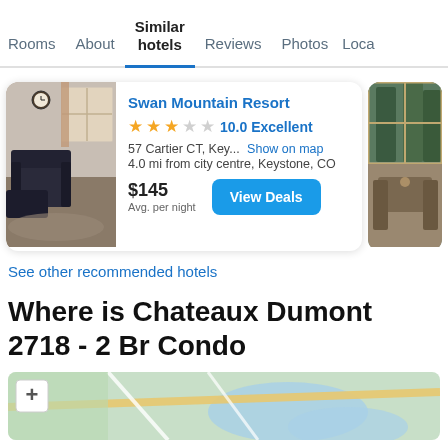Rooms  About  Similar hotels  Reviews  Photos  Loca...
Swan Mountain Resort
★★★☆☆ 10.0 Excellent
57 Cartier CT, Key... Show on map
4.0 mi from city centre, Keystone, CO
$145
Avg. per night
View Deals
See other recommended hotels
Where is Chateaux Dumont 2718 - 2 Br Condo
[Figure (map): Map showing location with zoom control and colored roads/water areas]